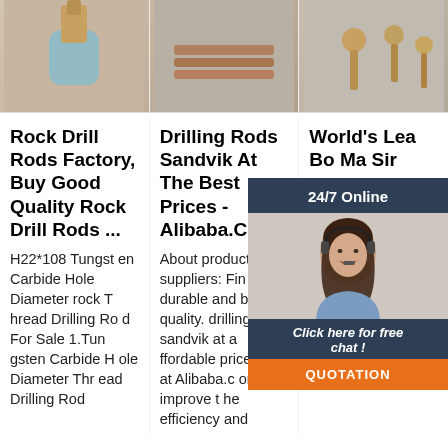[Figure (photo): Three product images in a row: left shows a blue container with a gold drill bit, center shows drill rods on a surface, right shows gold-colored hooks/keys on a wall]
Rock Drill Rods Factory, Buy Good Quality Rock Drill Rods ...
Drilling Rods Sandvik At The Best Prices - Alibaba.Com
World's Lea Bo Ma Sir
H22*108 Tungsten Carbide Hole Diameter rock Thread Drilling Rod For Sale 1.Tungsten Carbide Hole Diameter Thread Drilling Rod
About products and suppliers: Find durable and best quality. drilling rods sandvik at affordable prices only at Alibaba.com. To improve the efficiency and
Since exp nufa k bo ch has broad market and great reputation all over the world. Servic e Sinorock® has
[Figure (screenshot): Chat widget overlay with dark blue header '24/7 Online', photo of female customer service agent wearing headset, dark blue text 'Click here for free chat!', orange button 'QUOTATION']